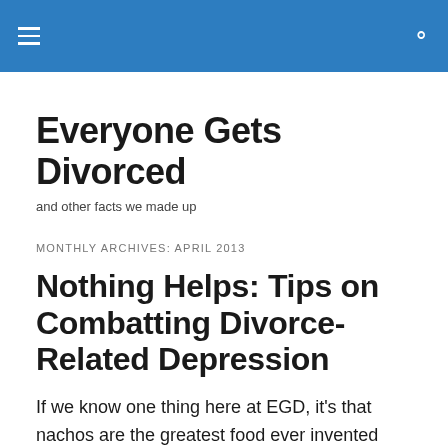Everyone Gets Divorced [navigation header with hamburger menu and search icon]
Everyone Gets Divorced
and other facts we made up
MONTHLY ARCHIVES: APRIL 2013
Nothing Helps: Tips on Combatting Divorce-Related Depression
If we know one thing here at EGD, it's that nachos are the greatest food ever invented ever. However, if we know one MORE thing, it's that getting divorced is terrible and